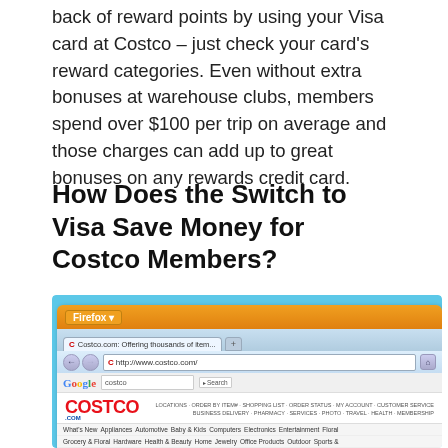back of reward points by using your Visa card at Costco – just check your card's reward categories. Even without extra bonuses at warehouse clubs, members spend over $100 per trip on average and those charges can add up to great bonuses on any rewards credit card.
How Does the Switch to Visa Save Money for Costco Members?
[Figure (screenshot): Screenshot of the Costco.com website in a Firefox browser window, showing the Costco website with navigation, search bar, and categories including What's New, Appliances, Automotive, Baby & Kids, Computers, Electronics, Entertainment, Floral, Grocery & Floral, Hardware, Health & Beauty, Home, Jewelry, Office Products, Outdoor, Sports & and more.]